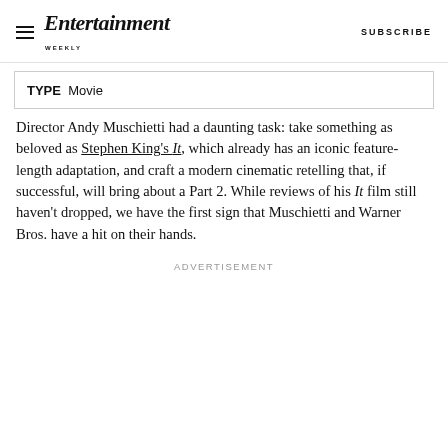Entertainment Weekly  SUBSCRIBE
TYPE  Movie
Director Andy Muschietti had a daunting task: take something as beloved as Stephen King's It, which already has an iconic feature-length adaptation, and craft a modern cinematic retelling that, if successful, will bring about a Part 2. While reviews of his It film still haven't dropped, we have the first sign that Muschietti and Warner Bros. have a hit on their hands.
ADVERTISEMENT